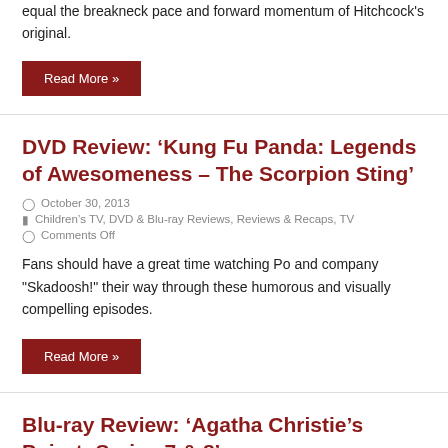equal the breakneck pace and forward momentum of Hitchcock's original.
Read More »
DVD Review: 'Kung Fu Panda: Legends of Awesomeness – The Scorpion Sting'
October 30, 2013
Children's TV, DVD & Blu-ray Reviews, Reviews & Recaps, TV
Comments Off
Fans should have a great time watching Po and company "Skadoosh!" their way through these humorous and visually compelling episodes.
Read More »
Blu-ray Review: 'Agatha Christie's Poirot: Series 7 & 8'
October 17, 2013  Drama, DVD & Blu-ray Reviews, TV  1 Comment